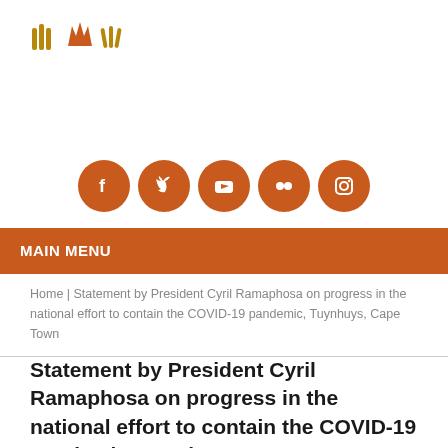[Figure (logo): South African government logo with three stylized wheat/feather icons in gold/orange tones]
[Figure (infographic): Five orange social media icon circles: Facebook, Twitter, YouTube, Flickr, Instagram]
MAIN MENU
Home | Statement by President Cyril Ramaphosa on progress in the national effort to contain the COVID-19 pandemic, Tuynhuys, Cape Town
Statement by President Cyril Ramaphosa on progress in the national effort to contain the COVID-19 pandemic, Tuynhuys, Cape Town